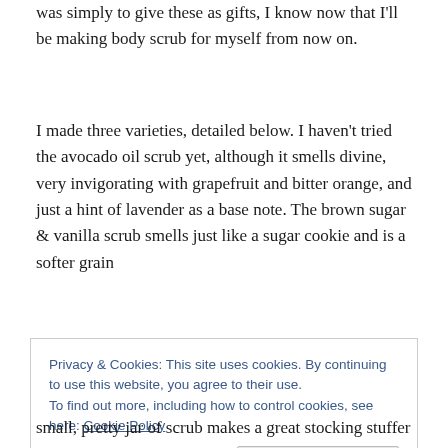was simply to give these as gifts, I know now that I'll be making body scrub for myself from now on.
I made three varieties, detailed below. I haven't tried the avocado oil scrub yet, although it smells divine, very invigorating with grapefruit and bitter orange, and just a hint of lavender as a base note. The brown sugar & vanilla scrub smells just like a sugar cookie and is a softer grain
Privacy & Cookies: This site uses cookies. By continuing to use this website, you agree to their use. To find out more, including how to control cookies, see here: Cookie Policy
small, pretty jar of scrub makes a great stocking stuffer